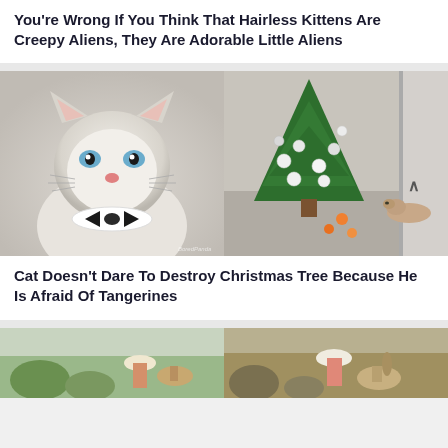You're Wrong If You Think That Hairless Kittens Are Creepy Aliens, They Are Adorable Little Aliens
[Figure (photo): Left: fluffy cat with blue eyes wearing a white collar and black bow tie, looking upward. Right: a hairless cat lying on the floor next to a Christmas tree decorated with white and silver ornaments, with tangerines scattered on the floor.]
Cat Doesn't Dare To Destroy Christmas Tree Because He Is Afraid Of Tangerines
[Figure (photo): Two side-by-side outdoor photos showing a person in a white hat interacting with what appears to be a deer or similar animal in a dry, brushy landscape.]